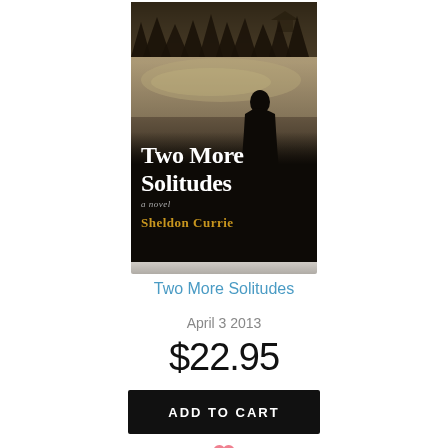[Figure (illustration): Book cover for 'Two More Solitudes' by Sheldon Currie. Sepia-toned image of a figure standing near a river with trees and a small house in background. Dark bottom section with white title text and gold author name.]
Two More Solitudes
April 3 2013
$22.95
ADD TO CART